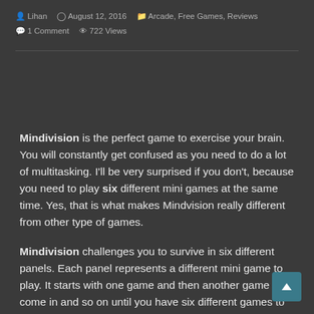Lihan  August 12, 2016  Arcade, Free Games, Reviews  1 Comment  722 Views
Mindivision is the perfect game to exercise your brain. You will constantly get confused as you need to do a lot of multitasking. I'll be very surprised if you don't, because you need to play six different mini games at the same time. Yes, that is what makes Mindvision really different from other type of games.
Mindivision challenges you to survive in six different panels. Each panel represents a different mini game to play. It starts with one game and then another game will come in and so on until you have six different games to play simultaneously. None of the games itself are hard, but it will soon get really challenging after the fourth game comes in.